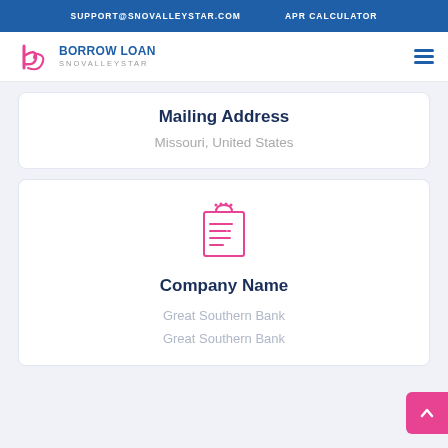SUPPORT@SNOVALLEYSTAR.COM   APR CALCULATOR
[Figure (logo): Borrow Loan SnovalleyStar logo with stylized 'b' and spiral icon in pink/magenta]
Mailing Address
Missouri, United States
[Figure (illustration): Pink/magenta icon of a document/notepad with lines representing text]
Company Name
Great Southern Bank
Great Southern Bank